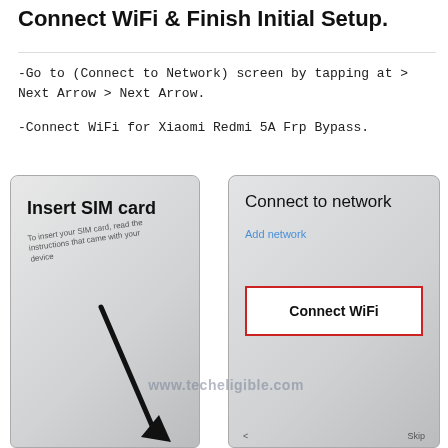Connect WiFi & Finish Initial Setup.
-Go to (Connect to Network) screen by tapping at > Next Arrow > Next Arrow.
-Connect WiFi for Xiaomi Redmi 5A Frp Bypass.
[Figure (screenshot): Two smartphone screenshots side by side. Left: 'Insert SIM card' screen with subtitle text and a downward arrow. Right: 'Connect to network' screen showing 'Add network' link and a red-bordered 'Connect WiFi' button. Watermark 'www.techeligible.com' overlaid on images.]